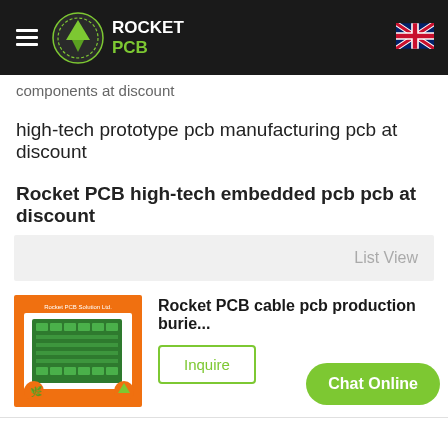ROCKET PCB
components at discount
high-tech prototype pcb manufacturing pcb at discount
Rocket PCB high-tech embedded pcb pcb at discount
List View
[Figure (photo): PCB product image with Rocket PCB Solution Ltd. branding, showing a green circuit board on orange background]
Rocket PCB cable pcb production burie...
Inquire
Chat Online